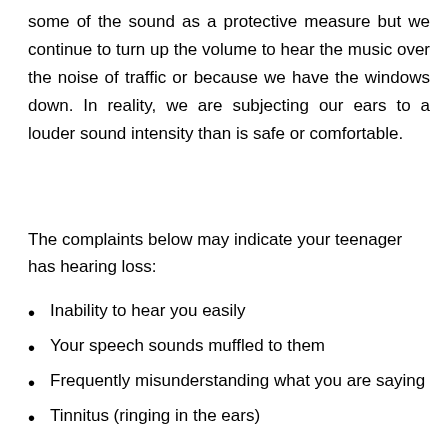some of the sound as a protective measure but we continue to turn up the volume to hear the music over the noise of traffic or because we have the windows down. In reality, we are subjecting our ears to a louder sound intensity than is safe or comfortable.
The complaints below may indicate your teenager has hearing loss:
Inability to hear you easily
Your speech sounds muffled to them
Frequently misunderstanding what you are saying
Tinnitus (ringing in the ears)